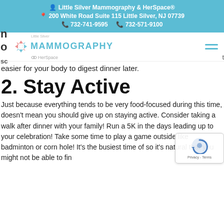Little Silver Mammography & HerSpace® 200 White Road Suite 115 Little Silver, NJ 07739 732-741-9595 732-571-9100
[Figure (logo): Little Silver Mammography & HerSpace logo with teal text and decorative pink/teal circular icon]
easier for your body to digest dinner later.
2. Stay Active
Just because everything tends to be very food-focused during this time, doesn't mean you should give up on staying active. Consider taking a walk after dinner with your family! Run a 5K in the days leading up to your celebration! Take some time to play a game outside like badminton or corn hole! It's the busiest time of so it's natural that you might not be able to fin